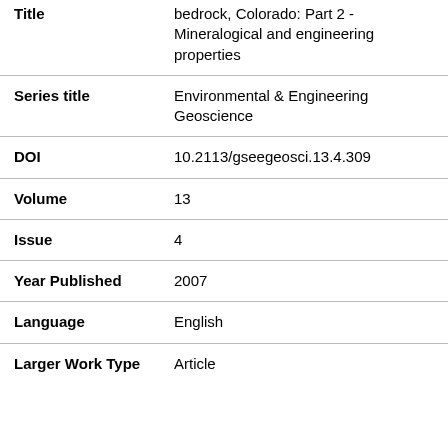| Field | Value |
| --- | --- |
| Title | bedrock, Colorado: Part 2 - Mineralogical and engineering properties |
| Series title | Environmental & Engineering Geoscience |
| DOI | 10.2113/gseegeosci.13.4.309 |
| Volume | 13 |
| Issue | 4 |
| Year Published | 2007 |
| Language | English |
| Larger Work Type | Article |